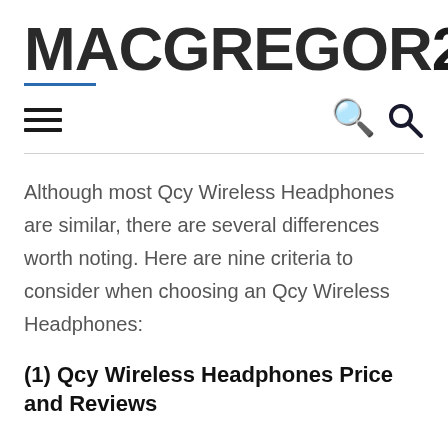MACGREGOR26
Although most Qcy Wireless Headphones are similar, there are several differences worth noting. Here are nine criteria to consider when choosing an Qcy Wireless Headphones:
(1) Qcy Wireless Headphones Price and Reviews